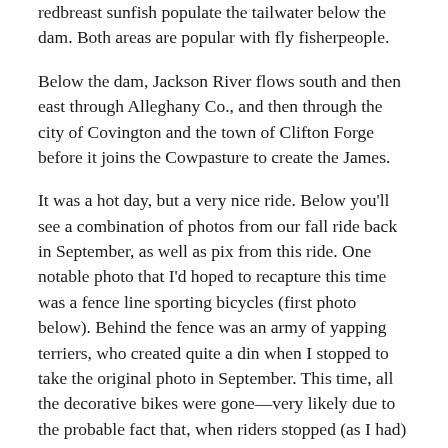redbreast sunfish populate the tailwater below the dam. Both areas are popular with fly fisherpeople.
Below the dam, Jackson River flows south and then east through Alleghany Co., and then through the city of Covington and the town of Clifton Forge before it joins the Cowpasture to create the James.
It was a hot day, but a very nice ride. Below you'll see a combination of photos from our fall ride back in September, as well as pix from this ride. One notable photo that I'd hoped to recapture this time was a fence line sporting bicycles (first photo below). Behind the fence was an army of yapping terriers, who created quite a din when I stopped to take the original photo in September. This time, all the decorative bikes were gone—very likely due to the probable fact that, when riders stopped (as I had) to photograph the fence, the dogs made it unbearable for the house's occupants.